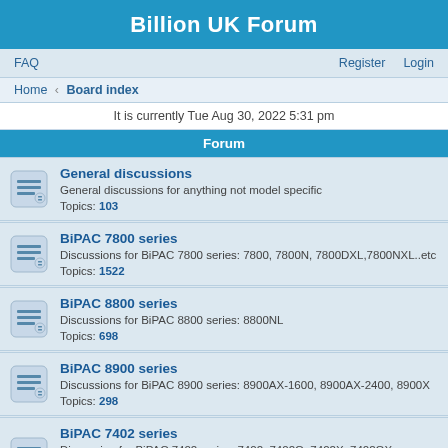Billion UK Forum
FAQ    Register    Login
Home › Board index
It is currently Tue Aug 30, 2022 5:31 pm
Forum
General discussions — General discussions for anything not model specific — Topics: 103
BiPAC 7800 series — Discussions for BiPAC 7800 series: 7800, 7800N, 7800DXL,7800NXL..etc — Topics: 1522
BiPAC 8800 series — Discussions for BiPAC 8800 series: 8800NL — Topics: 698
BiPAC 8900 series — Discussions for BiPAC 8900 series: 8900AX-1600, 8900AX-2400, 8900X — Topics: 298
BiPAC 7402 series — Discussion for BiPAC 7402 series: 7402, 7402G, 7402X, 7402GX, 7402NX..etc — Topics: 54